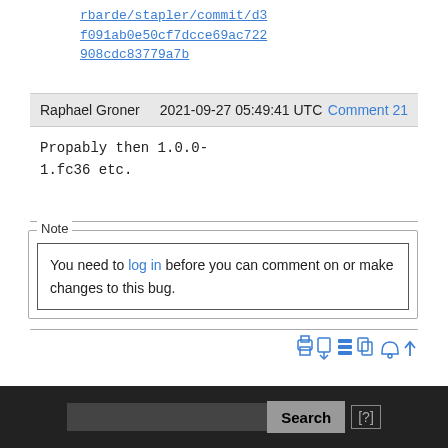rbarde/stapler/commit/d3f091ab0e50cf7dcce69ac722908cdc83779a7b
Raphael Groner   2021-09-27 05:49:41 UTC   Comment 21
Propably then 1.0.0-
1.fc36 etc.
Note
You need to log in before you can comment on or make changes to this bug.
[Figure (other): Toolbar icons: print, export, copy, duplicate, notify, scroll-to-top]
Search [?]